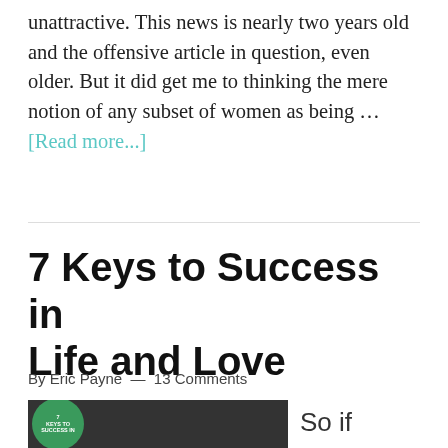unattractive. This news is nearly two years old and the offensive article in question, even older. But it did get me to thinking the mere notion of any subset of women as being … [Read more...]
7 Keys to Success in Life and Love
By Eric Payne — 13 Comments
[Figure (photo): Black and white photo of keys with a green circular badge overlay reading '7 Keys to Success in Life and Love']
So if your